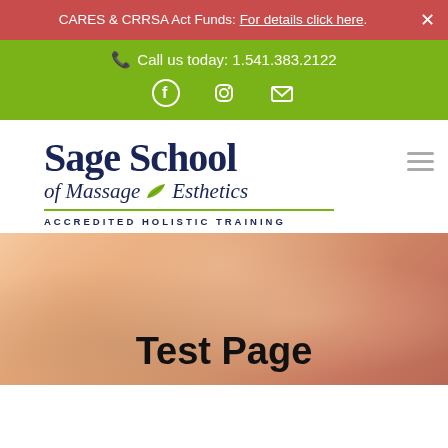CARES & CRRSA Act Funds: For details click here.
Call us today: 1.541.383.2122
[Figure (logo): Sage School of Massage & Esthetics logo with tagline ACCREDITED HOLISTIC TRAINING]
Test Page